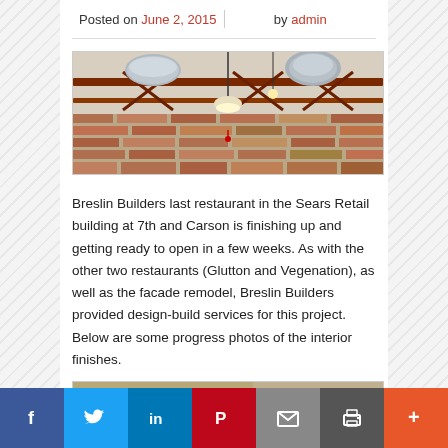Posted on June 2, 2015   by admin
[Figure (photo): Interior ceiling of a restaurant under construction showing exposed steel beams, HVAC ductwork, and industrial lighting fixtures with brick walls visible]
Breslin Builders last restaurant in the Sears Retail building at 7th and Carson is finishing up and getting ready to open in a few weeks. As with the other two restaurants (Glutton and Vegenation), as well as the facade remodel, Breslin Builders provided design-build services for this project. Below are some progress photos of the interior finishes.
[Figure (photo): Partial view of restaurant interior progress photo (cropped at bottom of page)]
f  Twitter  in  Pinterest  Email  Print  +